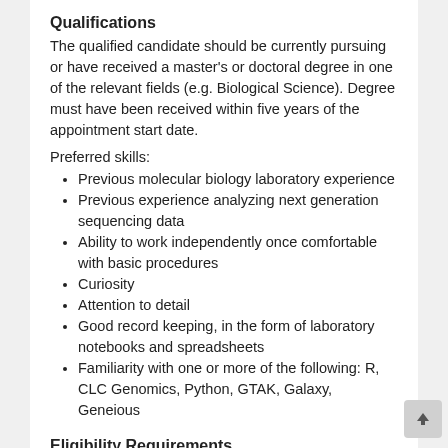Qualifications
The qualified candidate should be currently pursuing or have received a master's or doctoral degree in one of the relevant fields (e.g. Biological Science). Degree must have been received within five years of the appointment start date.
Preferred skills:
Previous molecular biology laboratory experience
Previous experience analyzing next generation sequencing data
Ability to work independently once comfortable with basic procedures
Curiosity
Attention to detail
Good record keeping, in the form of laboratory notebooks and spreadsheets
Familiarity with one or more of the following: R, CLC Genomics, Python, GTAK, Galaxy, Geneious
Eligibility Requirements
Citizenship: U.S. Citizen Only